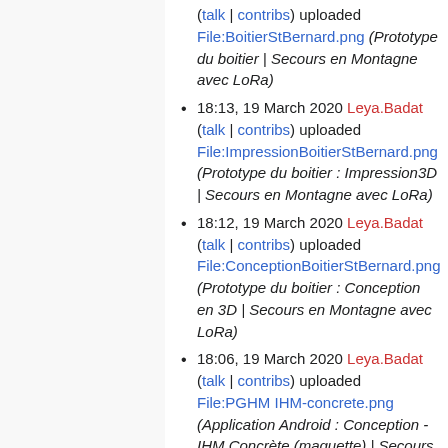(talk | contribs) uploaded File:BoitierStBernard.png (Prototype du boitier | Secours en Montagne avec LoRa)
18:13, 19 March 2020 Leya.Badat (talk | contribs) uploaded File:ImpressionBoitierStBernard.png (Prototype du boitier : Impression3D | Secours en Montagne avec LoRa)
18:12, 19 March 2020 Leya.Badat (talk | contribs) uploaded File:ConceptionBoitierStBernard.png (Prototype du boitier : Conception en 3D | Secours en Montagne avec LoRa)
18:06, 19 March 2020 Leya.Badat (talk | contribs) uploaded File:PGHMlHM-concrete.png (Application Android : Conception -IHM Concrète (maquette) | Secours en Montagne